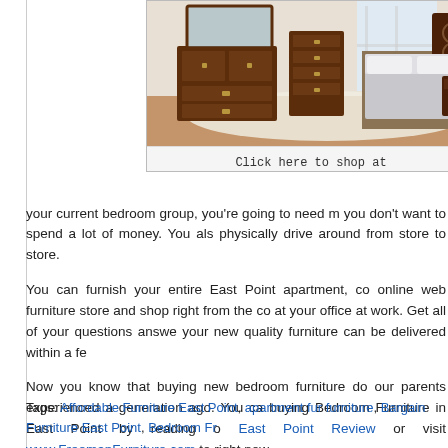[Figure (photo): Bedroom furniture showroom photo with dark wood dresser, chest of drawers, and bed with grey bedding on a light rug.]
Click here to shop at www.FreemanFurniture.com
your current bedroom group, you're going to need m you don't want to spend a lot of money. You als physically drive around from store to store.
You can furnish your entire East Point apartment, co online web furniture store and shop right from the co at your office at work. Get all of your questions answe your new quality furniture can be delivered within a fe
Now you know that buying new bedroom furniture do our parents experienced a generation ago. You ca buying Bedroom Furniture in East Point by reading o East Point Review or visit www.FreemanFurniture.com to right now.
Tags: Affordable Furniture East Point, apartment fur furniture, Bargain Furniture East Point, Bedroom Fr